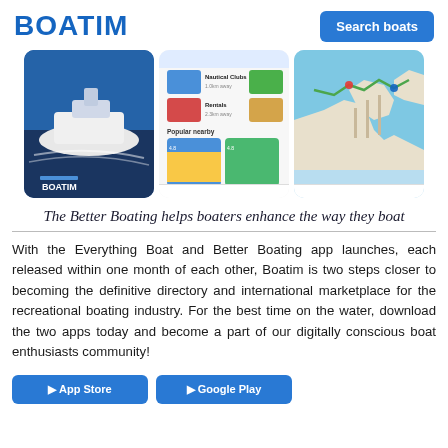BOATIM
[Figure (screenshot): Three app screenshots showing the Boatim mobile app: a yacht photo with BOATIM logo, a nearby services screen, and a map view.]
The Better Boating helps boaters enhance the way they boat
With the Everything Boat and Better Boating app launches, each released within one month of each other, Boatim is two steps closer to becoming the definitive directory and international marketplace for the recreational boating industry. For the best time on the water, download the two apps today and become a part of our digitally conscious boat enthusiasts community!